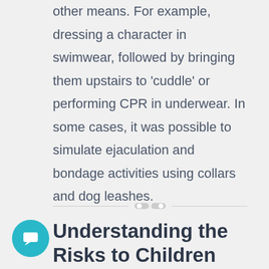other means. For example, dressing a character in swimwear, followed by bringing them upstairs to 'cuddle' or performing CPR in underwear. In some cases, it was possible to simulate ejaculation and bondage activities using collars and dog leashes.
Understanding the Risks to Children and Young People